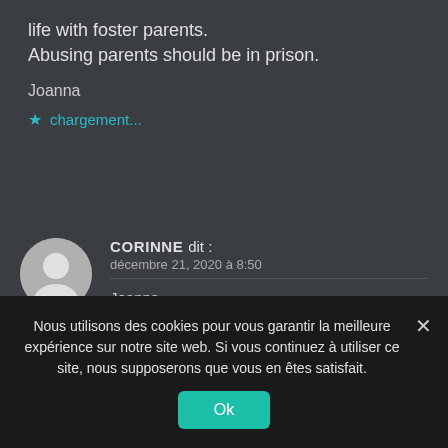life with foster parents. Abusing parents should be in prison.
Joanna
★ chargement...
CORINNE dit :
décembre 21, 2020 à 8:50
Joanna,
It's a very sensitive subject, there are
Nous utilisons des cookies pour vous garantir la meilleure expérience sur notre site web. Si vous continuez à utiliser ce site, nous supposerons que vous en êtes satisfait.
Ok